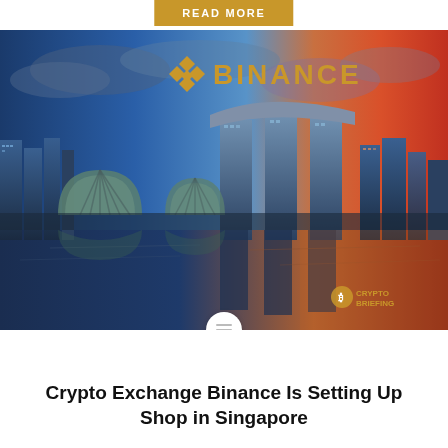READ MORE
[Figure (photo): Singapore cityscape at sunset with the Marina Bay Sands hotel and Gardens by the Bay domes reflected in water, overlaid with the Binance logo (diamond-shaped icon and text 'BINANCE' in gold) and a Crypto Briefing watermark in the bottom right corner.]
Crypto Exchange Binance Is Setting Up Shop in Singapore